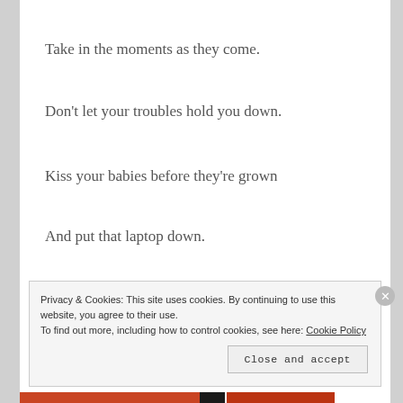Take in the moments as they come.
Don’t let your troubles hold you down.
Kiss your babies before they’re grown
And put that laptop down.
Cause time is passing,
And it’s beautiful
Privacy & Cookies: This site uses cookies. By continuing to use this website, you agree to their use. To find out more, including how to control cookies, see here: Cookie Policy
Close and accept